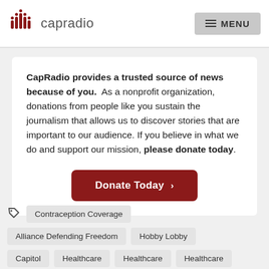capradio  MENU
CapRadio provides a trusted source of news because of you.  As a nonprofit organization, donations from people like you sustain the journalism that allows us to discover stories that are important to our audience. If you believe in what we do and support our mission, please donate today.
[Figure (other): Donate Today button — dark red rounded rectangle with white text and a right-arrow chevron]
Contraception Coverage
Alliance Defending Freedom
Hobby Lobby
Capitol
Healthcare
Healthcare
Healthcare